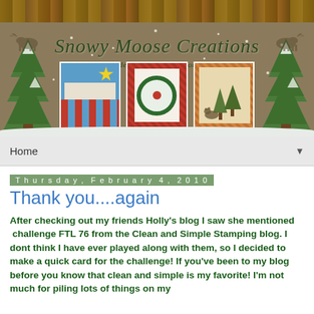[Figure (illustration): Snowy Moose Creations blog header banner with wood plank top, tan/brown background, green Christmas trees on left and right sides, three handmade card images in center bottom row, moose silhouettes, and snow dots. Title reads 'Snowy Moose Creations' with subtitle 'Handmade cards from Houston, Alaska']
Home
Thursday, February 4, 2010
Thank you....again
After checking out my friends Holly's blog I saw she mentioned  challenge FTL 76 from the Clean and Simple Stamping blog. I dont think I have ever played along with them, so I decided to make a quick card for the challenge! If you've been to my blog before you know that clean and simple is my favorite! I'm not much for piling lots of things on my